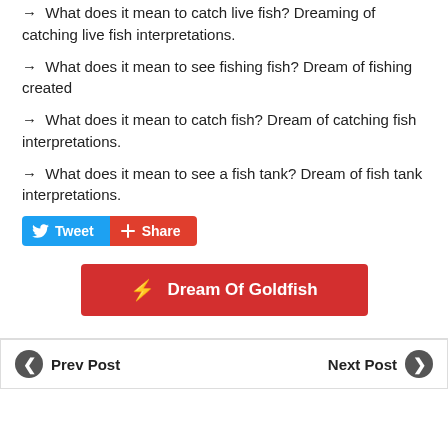→  What does it mean to catch live fish? Dreaming of catching live fish interpretations.
→  What does it mean to see fishing fish? Dream of fishing created
→  What does it mean to catch fish? Dream of catching fish interpretations.
→  What does it mean to see a fish tank? Dream of fish tank interpretations.
Tweet  Share
Dream Of Goldfish
Prev Post  Next Post